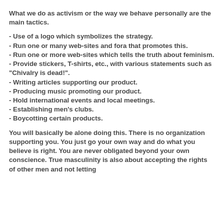What we do as activism or the way we behave personally are the main tactics.
- Use of a logo which symbolizes the strategy.
- Run one or many web-sites and fora that promotes this.
- Run one or more web-sites which tells the truth about feminism.
- Provide stickers, T-shirts, etc., with various statements such as "Chivalry is dead!".
- Writing articles supporting our product.
- Producing music promoting our product.
- Hold international events and local meetings.
- Establishing men's clubs.
- Boycotting certain products.
You will basically be alone doing this. There is no organization supporting you. You just go your own way and do what you believe is right. You are never obligated beyond your own conscience. True masculinity is also about accepting the rights of other men and not letting